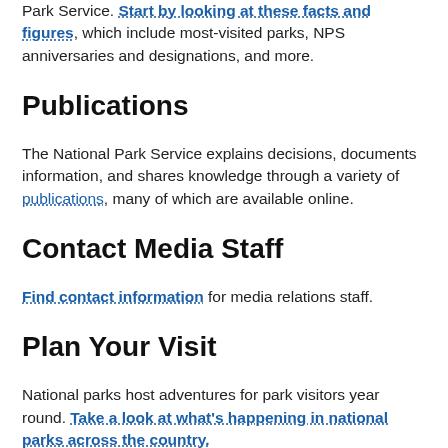Park Service. Start by looking at these facts and figures, which include most-visited parks, NPS anniversaries and designations, and more.
Publications
The National Park Service explains decisions, documents information, and shares knowledge through a variety of publications, many of which are available online.
Contact Media Staff
Find contact information for media relations staff.
Plan Your Visit
National parks host adventures for park visitors year round. Take a look at what's happening in national parks across the country.